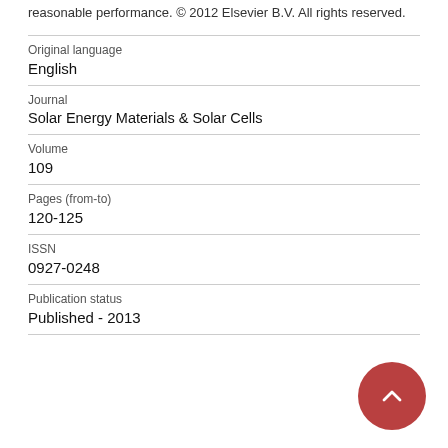reasonable performance. © 2012 Elsevier B.V. All rights reserved.
| Field | Value |
| --- | --- |
| Original language | English |
| Journal | Solar Energy Materials & Solar Cells |
| Volume | 109 |
| Pages (from-to) | 120-125 |
| ISSN | 0927-0248 |
| Publication status | Published - 2013 |